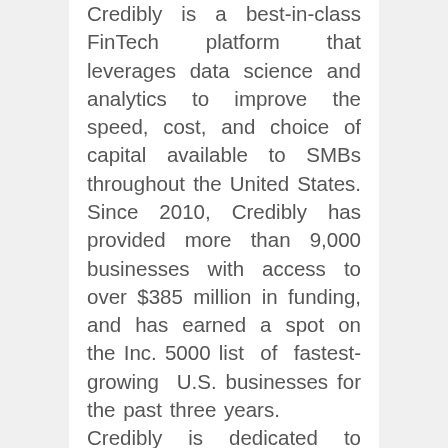Credibly is a best-in-class FinTech platform that leverages data science and analytics to improve the speed, cost, and choice of capital available to SMBs throughout the United States. Since 2010, Credibly has provided more than 9,000 businesses with access to over $385 million in funding, and has earned a spot on the Inc. 5000 list of fastest-growing U.S. businesses for the past three years.
Credibly is dedicated to creating